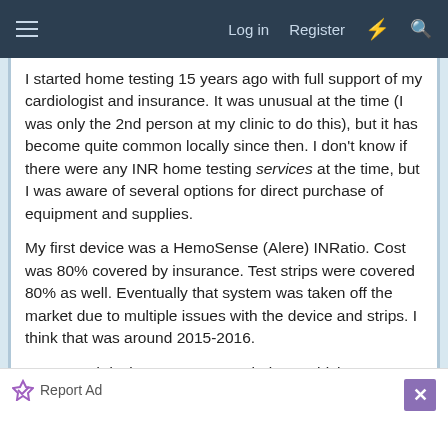Log in  Register
I started home testing 15 years ago with full support of my cardiologist and insurance. It was unusual at the time (I was only the 2nd person at my clinic to do this), but it has become quite common locally since then. I don't know if there were any INR home testing services at the time, but I was aware of several options for direct purchase of equipment and supplies.
My first device was a HemoSense (Alere) INRatio. Cost was 80% covered by insurance. Test strips were covered 80% as well. Eventually that system was taken off the market due to multiple issues with the device and strips. I think that was around 2015-2016.
My second device was a Coaguchek XS which I purchased outside of insurance. By that time, the services